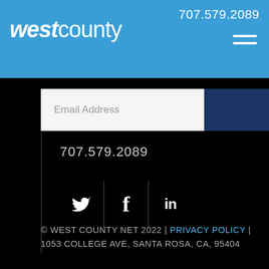707.579.2089 | westcounty
Email Address
707.579.2089
[Figure (infographic): Social media icons: Twitter bird, Facebook f, LinkedIn in]
© WEST COUNTY NET 2022 | PRIVACY POLICY | 1053 COLLEGE AVE, SANTA ROSA, CA, 95404